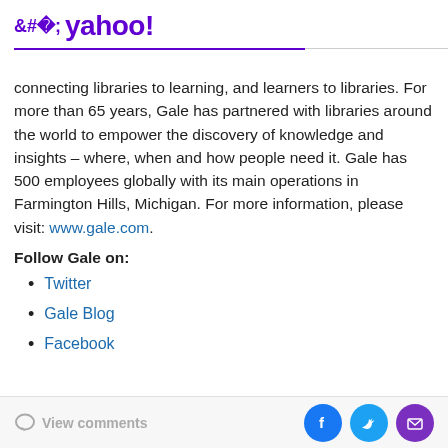< yahoo!
connecting libraries to learning, and learners to libraries. For more than 65 years, Gale has partnered with libraries around the world to empower the discovery of knowledge and insights – where, when and how people need it. Gale has 500 employees globally with its main operations in Farmington Hills, Michigan. For more information, please visit: www.gale.com.
Follow Gale on:
Twitter
Gale Blog
Facebook
View comments | Facebook | Twitter | Mail